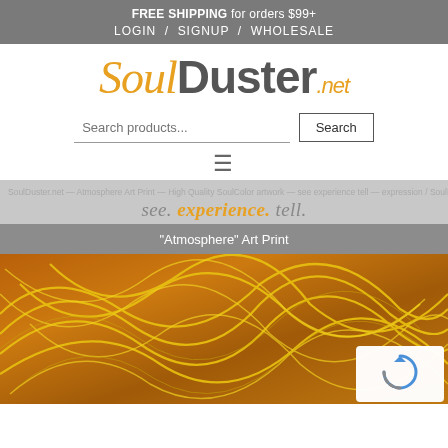FREE SHIPPING for orders $99+
LOGIN / SIGNUP / WHOLESALE
[Figure (logo): SoulDuster.net logo — 'Soul' in orange italic serif, 'Duster' in gray bold sans-serif, '.net' in orange italic]
Search products...
[Figure (infographic): Hamburger menu icon (three horizontal lines)]
see. experience. tell.
"Atmosphere" Art Print
[Figure (photo): Abstract art print with yellow/orange swirling lines on warm brown background — Atmosphere art print. reCAPTCHA badge visible in bottom-right corner.]